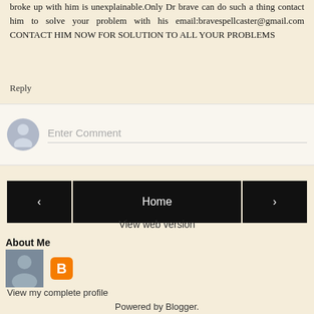broke up with him is unexplainable.Only Dr brave can do such a thing contact him to solve your problem with his email:bravespellcaster@gmail.com CONTACT HIM NOW FOR SOLUTION TO ALL YOUR PROBLEMS
Reply
[Figure (screenshot): Comment input box with avatar placeholder and 'Enter Comment' placeholder text]
[Figure (screenshot): Navigation buttons: left arrow, Home button, right arrow]
View web version
About Me
[Figure (photo): Profile photo thumbnail of a person and Blogger orange icon]
View my complete profile
Powered by Blogger.